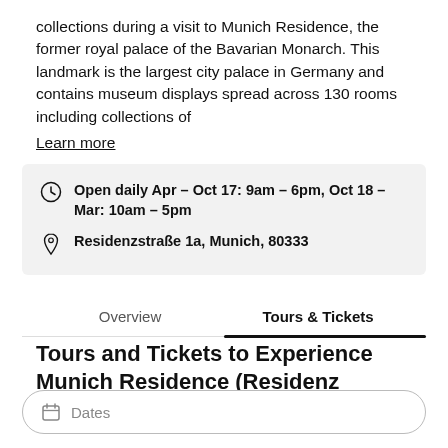collections during a visit to Munich Residence, the former royal palace of the Bavarian Monarch. This landmark is the largest city palace in Germany and contains museum displays spread across 130 rooms including collections of
Learn more
Open daily Apr – Oct 17: 9am – 6pm, Oct 18 – Mar: 10am – 5pm
Residenzstraße 1a, Munich, 80333
Overview | Tours & Tickets
Tours and Tickets to Experience Munich Residence (Residenz München)
Dates